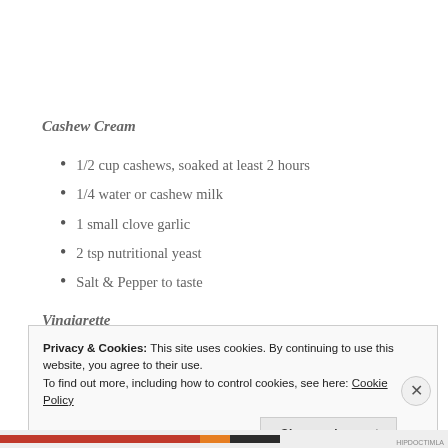Cashew Cream
1/2 cup cashews, soaked at least 2 hours
1/4 water or cashew milk
1 small clove garlic
2 tsp nutritional yeast
Salt & Pepper to taste
Vinaigrette
Privacy & Cookies: This site uses cookies. By continuing to use this website, you agree to their use.
To find out more, including how to control cookies, see here: Cookie Policy
Close and accept